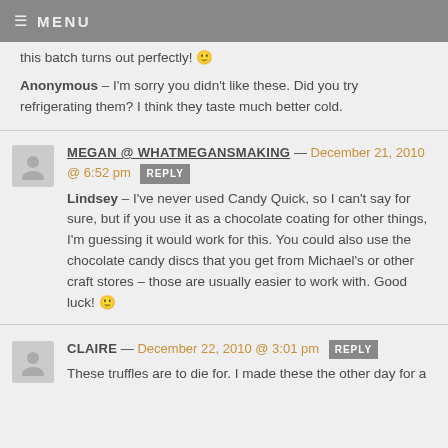MENU
this batch turns out perfectly! 🙂
Anonymous – I'm sorry you didn't like these. Did you try refrigerating them? I think they taste much better cold.
MEGAN @ WHATMEGANSMAKING — December 21, 2010 @ 6:52 pm REPLY
Lindsey – I've never used Candy Quick, so I can't say for sure, but if you use it as a chocolate coating for other things, I'm guessing it would work for this. You could also use the chocolate candy discs that you get from Michael's or other craft stores – those are usually easier to work with. Good luck! 🙂
CLAIRE — December 22, 2010 @ 3:01 pm REPLY
These truffles are to die for. I made these the other day for a